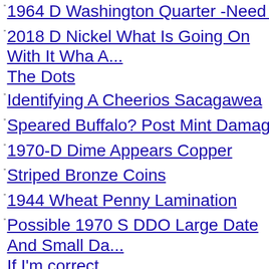1964 D Washington Quarter -Need Help With P
2018 D Nickel What Is Going On With It Wha A... The Dots
Identifying A Cheerios Sacagawea
Speared Buffalo? Post Mint Damage? Die Error
1970-D Dime Appears Copper
Striped Bronze Coins
1944 Wheat Penny Lamination
Possible 1970 S DDO Large Date And Small Da... If I'm correct
No Date Lincoln Memorial Cent Mint Error - Rag
1959 Lincoln Memorial Cent Mint Error - Struck... Planchet